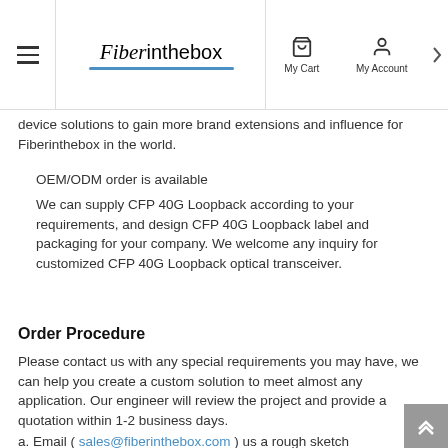Fiberinthebox — My Cart | My Account
device solutions to gain more brand extensions and influence for Fiberinthebox in the world.
OEM/ODM order is available
We can supply CFP 40G Loopback according to your requirements, and design CFP 40G Loopback label and packaging for your company. We welcome any inquiry for customized CFP 40G Loopback optical transceiver.
Order Procedure
Please contact us with any special requirements you may have, we can help you create a custom solution to meet almost any application. Our engineer will review the project and provide a quotation within 1-2 business days.
a. Email ( sales@fiberinthebox.com ) us a rough sketch